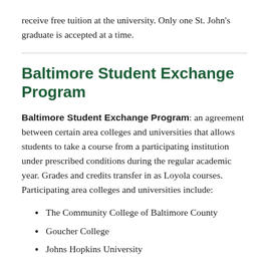receive free tuition at the university. Only one St. John's graduate is accepted at a time.
Baltimore Student Exchange Program
Baltimore Student Exchange Program: an agreement between certain area colleges and universities that allows students to take a course from a participating institution under prescribed conditions during the regular academic year. Grades and credits transfer in as Loyola courses. Participating area colleges and universities include:
The Community College of Baltimore County
Goucher College
Johns Hopkins University